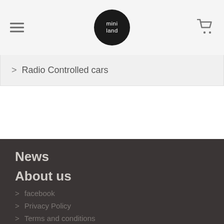mini land — navigation header with hamburger menu, logo, and cart icon
> Radio Controlled cars
News
About us
> facebook
> Privacy Policy
> Terms and conditions
> Contact us
> Sign in